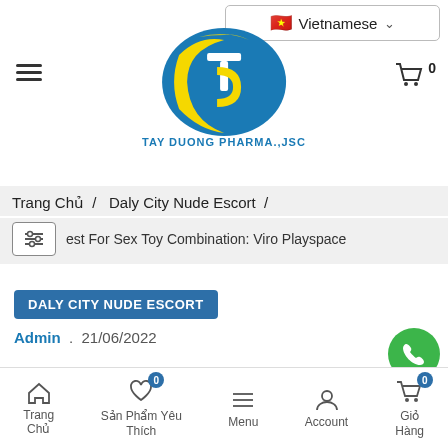[Figure (logo): Tay Duong Pharma JSC logo — blue oval with yellow T and D letters, with company name below]
Vietnamese (language selector dropdown)
Trang Chủ / Daly City Nude Escort /
est For Sex Toy Combination: Viro Playspace
DALY CITY NUDE ESCORT
Admin . 21/06/2022
Trang Chủ  Sản Phẩm Yêu Thích  Menu  Account  Giỏ Hàng